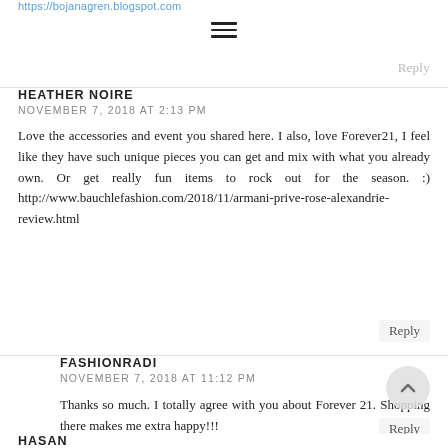https://bojanagren.blogspot.com
Reply
HEATHER NOIRE
NOVEMBER 7, 2018 AT 2:13 PM
Love the accessories and event you shared here. I also, love Forever21, I feel like they have such unique pieces you can get and mix with what you already own. Or get really fun items to rock out for the season. :) http://www.bauchlefashion.com/2018/11/armani-prive-rose-alexandrie-review.html
Reply
FASHIONRADI
NOVEMBER 7, 2018 AT 11:12 PM
Thanks so much. I totally agree with you about Forever 21. Shopping there makes me extra happy!!! Have a nice day!
Reply
HASAN